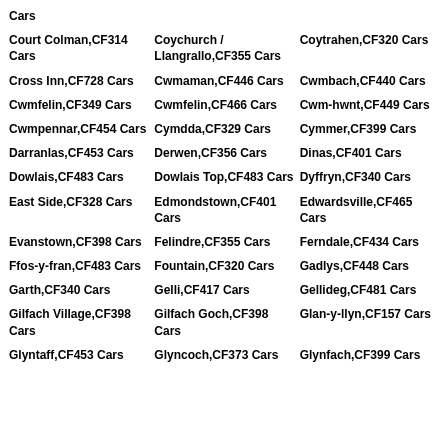Cars
Court Colman,CF314 Cars
Coychurch / Llangrallo,CF355 Cars
Coytrahen,CF320 Cars
Cross Inn,CF728 Cars
Cwmaman,CF446 Cars
Cwmbach,CF440 Cars
Cwmfelin,CF349 Cars
Cwmfelin,CF466 Cars
Cwm-hwnt,CF449 Cars
Cwmpennar,CF454 Cars
Cymdda,CF329 Cars
Cymmer,CF399 Cars
Darranlas,CF453 Cars
Derwen,CF356 Cars
Dinas,CF401 Cars
Dowlais,CF483 Cars
Dowlais Top,CF483 Cars
Dyffryn,CF340 Cars
East Side,CF328 Cars
Edmondstown,CF401 Cars
Edwardsville,CF465 Cars
Evanstown,CF398 Cars
Felindre,CF355 Cars
Ferndale,CF434 Cars
Ffos-y-fran,CF483 Cars
Fountain,CF320 Cars
Gadlys,CF448 Cars
Garth,CF340 Cars
Gelli,CF417 Cars
Gellideg,CF481 Cars
Gilfach Village,CF398 Cars
Gilfach Goch,CF398 Cars
Glan-y-llyn,CF157 Cars
Glyntaff,CF453 Cars
Glyncoch,CF373 Cars
Glynfach,CF399 Cars